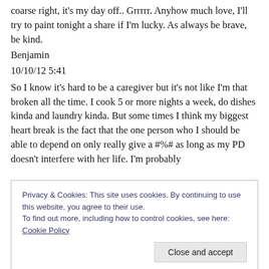coarse right, it's my day off.. Grrrrr. Anyhow much love, I'll try to paint tonight a share if I'm lucky. As always be brave, be kind.
Benjamin
10/10/12 5:41
So I know it's hard to be a caregiver but it's not like I'm that broken all the time. I cook 5 or more nights a week, do dishes kinda and laundry kinda. But some times I think my biggest heart break is the fact that the one person who I should be able to depend on only really give a #%# as long as my PD doesn't interfere with her life. I'm probably
Privacy & Cookies: This site uses cookies. By continuing to use this website, you agree to their use.
To find out more, including how to control cookies, see here: Cookie Policy